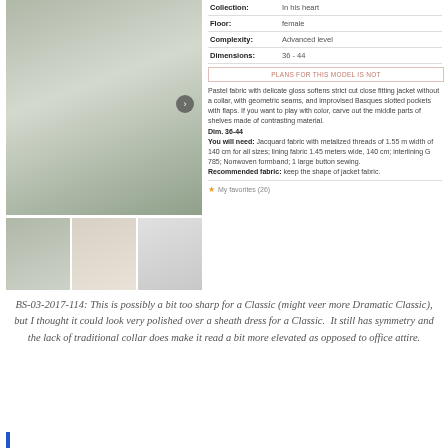[Figure (photo): Main product photo: woman wearing a light beige/cream fitted jacket with geometric seams over white trousers, holding white balloons, outdoors on grass]
[Figure (photo): Thumbnail 1: smaller version of the main photo]
[Figure (photo): Thumbnail 2: close-up of the jacket in beige/nude color]
[Figure (illustration): Thumbnail 3: line drawing/technical sketch of the jacket]
| Property | Value |
| --- | --- |
| Collection: | In his heart |
| Floor: | female |
| Complexity: | Advanced level |
| Dimensions: | 36 - 44 |
PLANS FOR THIS MODEL IS NOT
Pastel fabric with delicate gloss softens strict cut close fitting jacket without a collar, with geometric seams, and improvised Basques slotted pockets with flaps. If you want to play with color, carve out the middle parts of shelves made of contrasting material.
Dim. 36-44
You will need: Jacquard fabric with metalized threads of 1.55 m width of 140 cm for all sizes; lining fabric 1.45 meters wide, 140 cm; interlining G 785; Nonwoven formband; 1 large button sewing.
Recommended fabric: keep the shape of jacket fabric.
My favorites (26)
BS-03-2017-114: This is possibly a bit too sharp for a Classic (might veer more Dramatic Classic), but I thought it could look very polished over a sheath dress for a Classic. It still has symmetry and the lack of traditional collar does make it read a bit more elevated as opposed to office attire.